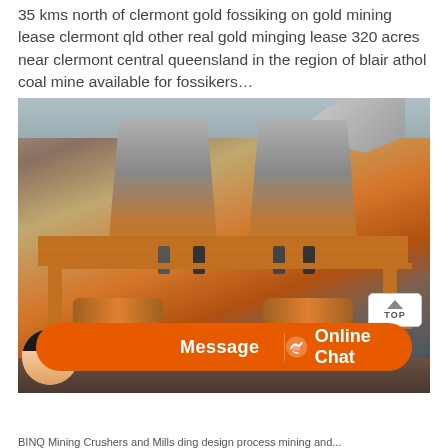35 kms north of clermont gold fossiking on gold mining lease clermont qld other real gold minging lease 320 acres near clermont central queensland in the region of blair athol coal mine available for fossikers…
[Figure (photo): Photograph of large industrial gold/ore mining equipment with orange hoppers, processing drums, and scaffold platform with workers visible. A loader/bulldozer is visible at the top. A 'TOP' button overlay appears in the lower-right of the image.]
Message   Online Chat
BINQ Mining Crushers and Mills ding design process mining and...